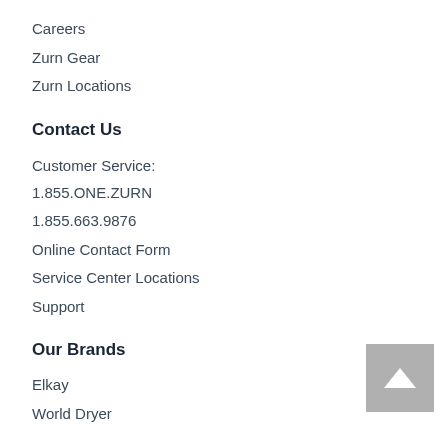Careers
Zurn Gear
Zurn Locations
Contact Us
Customer Service:
1.855.ONE.ZURN
1.855.663.9876
Online Contact Form
Service Center Locations
Support
Our Brands
Elkay
World Dryer